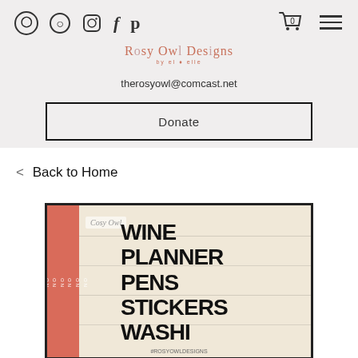Rosy Owl Designs — social icons, cart, menu
therosyowl@comcast.net
Donate
< Back to Home
[Figure (photo): Product image showing a wooden plank board with text listing: Wine, Planner, Pens, Stickers, Washi. A salmon/coral colored vertical stripe on the left side. Rosy Owl Designs branding visible.]